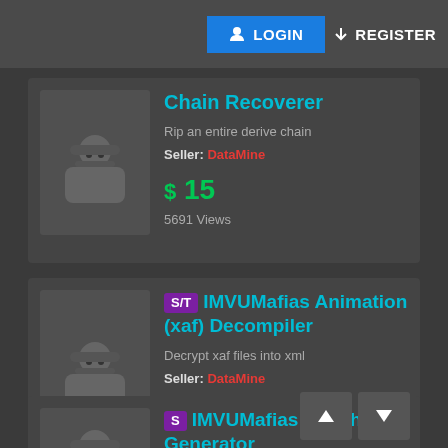LOGIN  REGISTER
Chain Recoverer
Rip an entire derive chain
Seller: DataMine
$ 15
5691 Views
S/T  IMVUMafias Animation (xaf) Decompiler
Decrypt xaf files into xml
Seller: DataMine
$ 10
5276 Views
S  IMVUMafias Morph Generator
Create morphs to move meshes around!